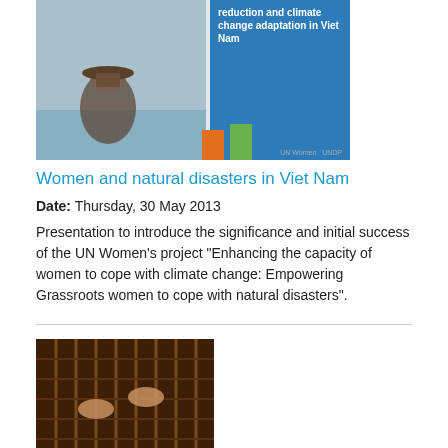[Figure (photo): Book cover for 'Women and natural disasters in Viet Nam' publication showing a woman in flood waters and colored bar chart elements on a blue background]
Women and natural disasters in Viet Nam
Date: Thursday, 30 May 2013
Presentation to introduce the significance and initial success of the UN Women's project "Enhancing the capacity of women to cope with climate change: Empowering Grassroots women to cope with natural disasters".
[Figure (photo): Book cover for 'A Gendered Perspective on Micro, Small and Medium Enterprises' showing hands weaving on a loom, brown/earth tones]
A Gendered Perspective on Micro, Small and Medium Enterprises
Date: Monday, 24 December 2012
The MSME sector provides opportunities to women for both self-